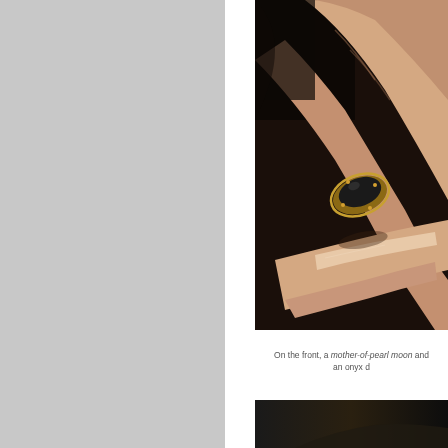[Figure (photo): Left half of page: large solid gray/light gray rectangle placeholder panel occupying the left portion of the page.]
[Figure (photo): Close-up photograph of a hand holding a ring with a dark onyx stone set in a gold or rose-gold ornate setting, against a dark background. The hand shows two fingers pinching the ring, with light skin tones and natural nails visible.]
On the front, a mother-of-pearl moon and an onyx d
[Figure (photo): Partial view of another dark close-up photograph at the bottom of the page, appears to be a continuation or related image, mostly black/dark tones.]